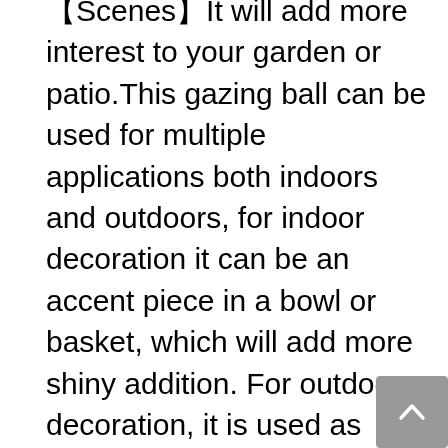【Scenes】It will add more interest to your garden or patio.This gazing ball can be used for multiple applications both indoors and outdoors, for indoor decoration it can be an accent piece in a bowl or basket, which will add more shiny addition. For outdoor decoration, it is used as garden lawn, yard wall or pool decoration.
【Striking】Hollow garden globe mirror ball creates amazing focal points when used in your garden.The beautiful reflective surface looks stunning anywhere on the grass or table top. Draw people's attention to your favorite part of your yard or patio.
【Art Creation】It can be used as garden art, home art, store decoration art,